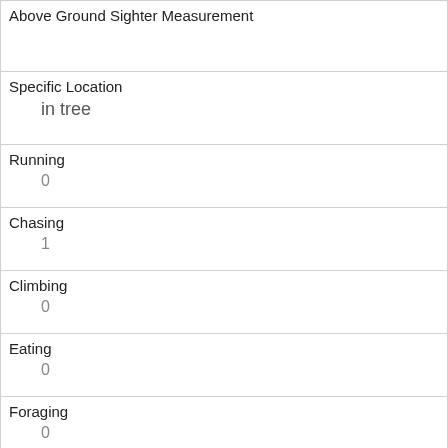| Above Ground Sighter Measurement |  |
| Specific Location | in tree |
| Running | 0 |
| Chasing | 1 |
| Climbing | 0 |
| Eating | 0 |
| Foraging | 0 |
| Other Activities |  |
| Kuks | 0 |
| Quaas | 0 |